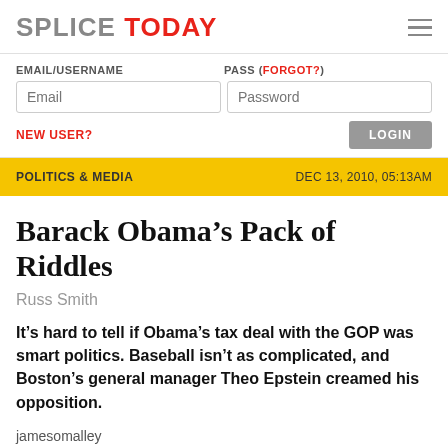SPLICE TODAY
EMAIL/USERNAME | PASS (FORGOT?) | NEW USER? | LOGIN
POLITICS & MEDIA | DEC 13, 2010, 05:13AM
Barack Obama’s Pack of Riddles
Russ Smith
It’s hard to tell if Obama’s tax deal with the GOP was smart politics. Baseball isn’t as complicated, and Boston’s general manager Theo Epstein creamed his opposition.
jamesomalley